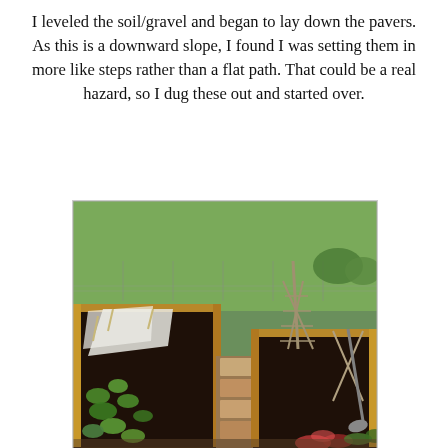I leveled the soil/gravel and began to lay down the pavers. As this is a downward slope, I found I was setting them in more like steps rather than a flat path. That could be a real hazard, so I dug these out and started over.
[Figure (photo): Garden photo showing two raised wooden garden beds with dark soil, green vegetable seedlings on the left bed, brick/paver path laid between the beds, a white fabric row cover supported by sticks on the left, a tall trellis structure in the right bed, a shovel leaning against the right bed, green grass lawn and wire fence in the background.]